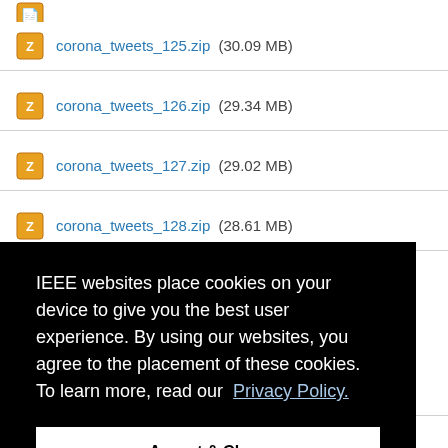corona_tweets_125.zip (30.09 MB)
corona_tweets_126.zip (29.34 MB)
corona_tweets_127.zip (29.02 MB)
corona_tweets_128.zip (28.61 MB)
IEEE websites place cookies on your device to give you the best user experience. By using our websites, you agree to the placement of these cookies. To learn more, read our Privacy Policy.
Accept & Close